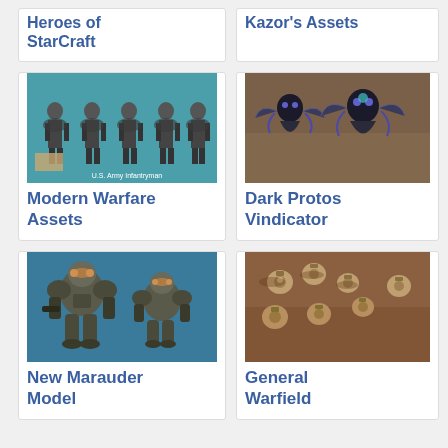Heroes of StarCraft
Kazor's Assets
[Figure (photo): U.S. Army Infantryman concept art showing multiple soldier figures on teal background]
Modern Warfare Assets
[Figure (photo): Dark Protoss Vindicator units shown from overhead view on sandy terrain]
Dark Protos Vindicator
[Figure (photo): New Marauder 3D model on blue background showing two armored figures]
New Marauder Model
[Figure (photo): General Warfield units shown from overhead on reddish-brown terrain]
General Warfield